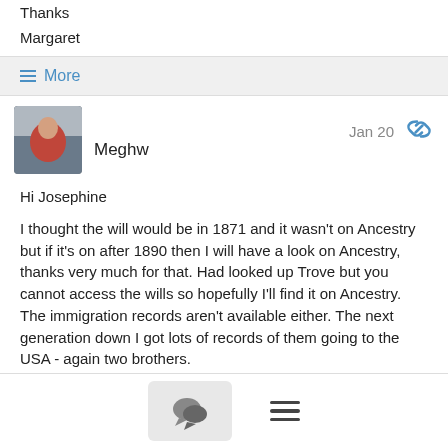Thanks
Margaret
≡ More
Meghw
Jan 20
Hi Josephine

I thought the will would be in 1871 and it wasn't on Ancestry but if it's on after 1890 then I will have a look on Ancestry, thanks very much for that. Had looked up Trove but you cannot access the wills so hopefully I'll find it on Ancestry.  The immigration records aren't available either.   The next generation down I got lots of records of them going to the USA - again two brothers.

Thanks again
[Figure (screenshot): Bottom navigation bar with comment bubble icon button and hamburger menu icon]